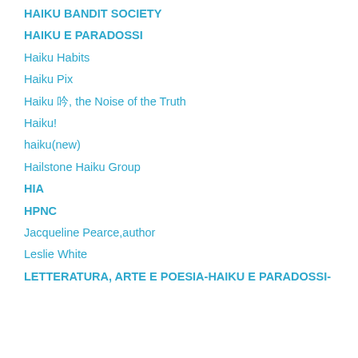HAIKU BANDIT SOCIETY
HAIKU E PARADOSSI
Haiku Habits
Haiku Pix
Haiku 吟, the Noise of the Truth
Haiku!
haiku(new)
Hailstone Haiku Group
HIA
HPNC
Jacqueline Pearce,author
Leslie White
LETTERATURA, ARTE E POESIA-HAIKU E PARADOSSI-